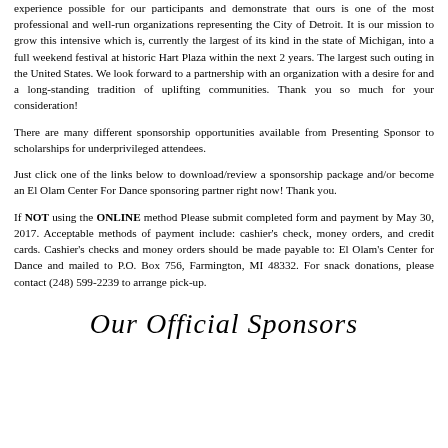experience possible for our participants and demonstrate that ours is one of the most professional and well-run organizations representing the City of Detroit. It is our mission to grow this intensive which is, currently the largest of its kind in the state of Michigan, into a full weekend festival at historic Hart Plaza within the next 2 years. The largest such outing in the United States. We look forward to a partnership with an organization with a desire for and a long-standing tradition of uplifting communities. Thank you so much for your consideration!
There are many different sponsorship opportunities available from Presenting Sponsor to scholarships for underprivileged attendees.
Just click one of the links below to download/review a sponsorship package and/or become an El Olam Center For Dance sponsoring partner right now! Thank you.
If NOT using the ONLINE method Please submit completed form and payment by May 30, 2017. Acceptable methods of payment include: cashier's check, money orders, and credit cards. Cashier's checks and money orders should be made payable to: El Olam's Center for Dance and mailed to P.O. Box 756, Farmington, MI 48332. For snack donations, please contact (248) 599-2239 to arrange pick-up.
Our Official Sponsors